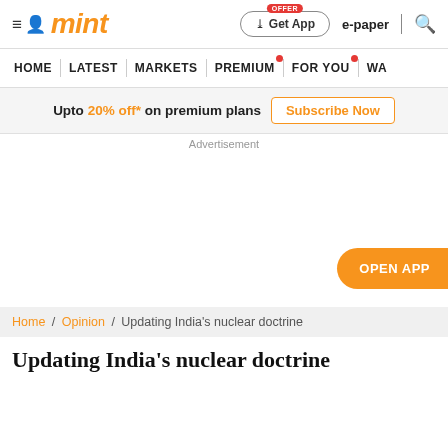mint
Upto 20% off* on premium plans Subscribe Now
Advertisement
OPEN APP
Home / Opinion / Updating India's nuclear doctrine
Updating India's nuclear doctrine